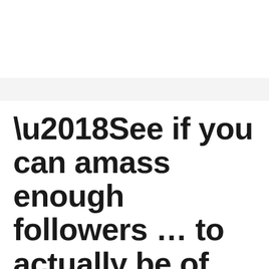‘See if you can amass enough followers … to actually be of benefit’
March 17, 2022 by admin